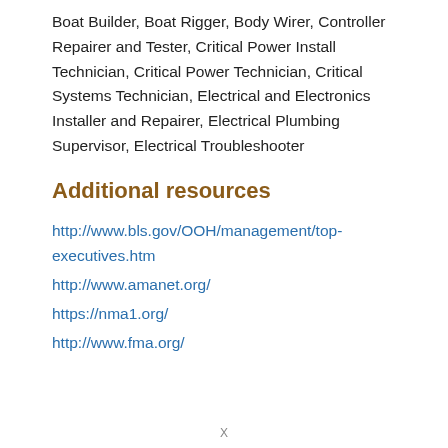Boat Builder, Boat Rigger, Body Wirer, Controller Repairer and Tester, Critical Power Install Technician, Critical Power Technician, Critical Systems Technician, Electrical and Electronics Installer and Repairer, Electrical Plumbing Supervisor, Electrical Troubleshooter
Additional resources
http://www.bls.gov/OOH/management/top-executives.htm
http://www.amanet.org/
https://nma1.org/
http://www.fma.org/
X